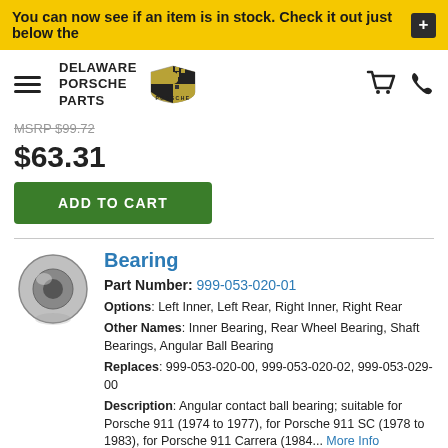You can now see if an item is in stock. Check it out just below the +
[Figure (logo): Delaware Porsche Parts logo with Porsche crest and wordmark]
MSRP $99.72
$63.31
ADD TO CART
Bearing
Part Number: 999-053-020-01
Options: Left Inner, Left Rear, Right Inner, Right Rear
Other Names: Inner Bearing, Rear Wheel Bearing, Shaft Bearings, Angular Ball Bearing
Replaces: 999-053-020-00, 999-053-020-02, 999-053-029-00
Description: Angular contact ball bearing; suitable for Porsche 911 (1974 to 1977), for Porsche 911 SC (1978 to 1983), for Porsche 911 Carrera (1984... More Info